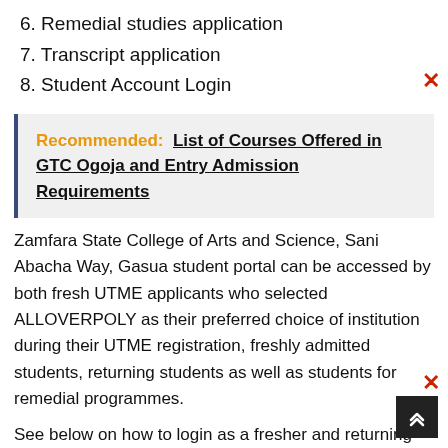6. Remedial studies application
7. Transcript application
8. Student Account Login
Recommended:  List of Courses Offered in GTC Ogoja and Entry Admission Requirements
Zamfara State College of Arts and Science, Sani Abacha Way, Gasua student portal can be accessed by both fresh UTME applicants who selected ALLOVERPOLY as their preferred choice of institution during their UTME registration, freshly admitted students, returning students as well as students for remedial programmes.
See below on how to login as a fresher and returning student.